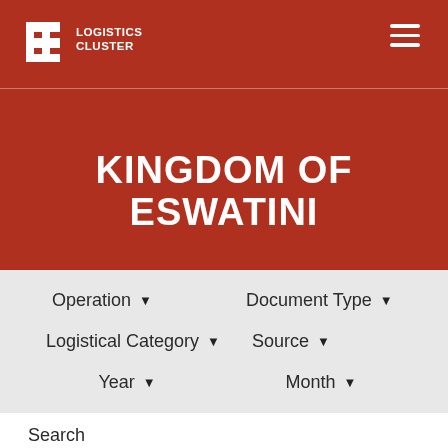Logistics Cluster
KINGDOM OF ESWATINI
Operation ▾
Document Type ▾
Logistical Category ▾
Source ▾
Year ▾
Month ▾
Search